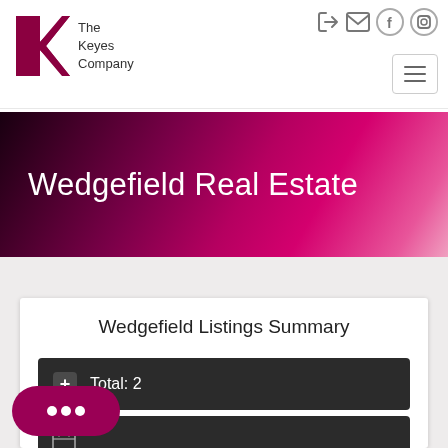[Figure (logo): The Keyes Company logo with stylized K in dark red/maroon and text 'The Keyes Company']
[Figure (other): Navigation icons: login arrow, mail envelope, Facebook F circle, Instagram camera circle, and hamburger menu button]
Wedgefield Real Estate
Wedgefield Listings Summary
Total: 2